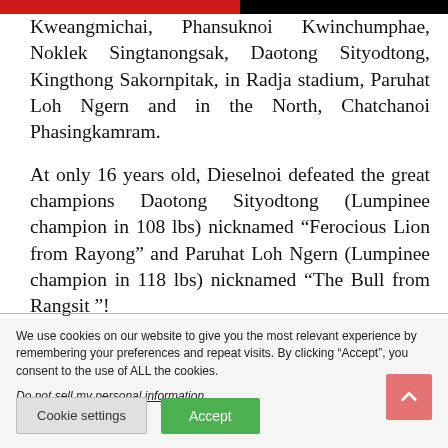Kweangmichai, Phansuknoi Kwinchumphae, Noklek Singtanongsak, Daotong Sityodtong, Kingthong Sakornpitak, in Radja stadium, Paruhat Loh Ngern and in the North, Chatchanoi Phasingkamram.
At only 16 years old, Dieselnoi defeated the great champions Daotong Sityodtong (Lumpinee champion in 108 lbs) nicknamed “Ferocious Lion from Rayong” and Paruhat Loh Ngern (Lumpinee champion in 118 lbs) nicknamed “The Bull from Rangsit ”!
We use cookies on our website to give you the most relevant experience by remembering your preferences and repeat visits. By clicking “Accept”, you consent to the use of ALL the cookies.
Do not sell my personal information.